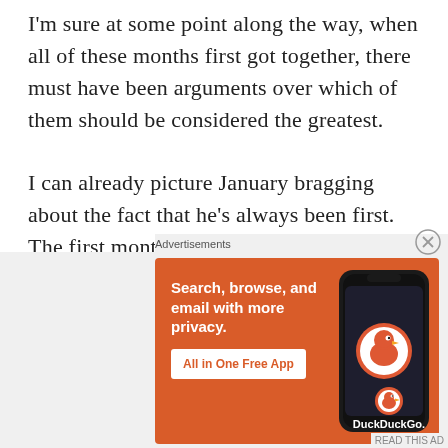I'm sure at some point along the way, when all of these months first got together, there must have been arguments over which of them should be considered the greatest.

I can already picture January bragging about the fact that he's always been first. The first month to ring in a new year. The first month where resolutions are made. Then February would chime in about being the lover's month; April would mention something about
[Figure (screenshot): DuckDuckGo advertisement banner with orange background. Text reads 'Search, browse, and email with more privacy. All in One Free App' with a phone image showing the DuckDuckGo app and logo.]